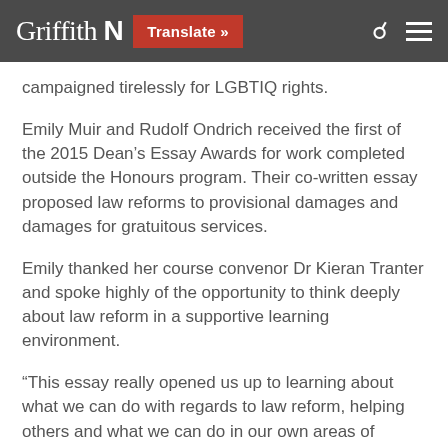Griffith N | Translate »
campaigned tirelessly for LGBTIQ rights.
Emily Muir and Rudolf Ondrich received the first of the 2015 Dean's Essay Awards for work completed outside the Honours program. Their co-written essay proposed law reforms to provisional damages and damages for gratuitous services.
Emily thanked her course convenor Dr Kieran Tranter and spoke highly of the opportunity to think deeply about law reform in a supportive learning environment.
“This essay really opened us up to learning about what we can do with regards to law reform, helping others and what we can do in our own areas of practice,” she said.
Rudolf Ondrich was also recognised individually with a